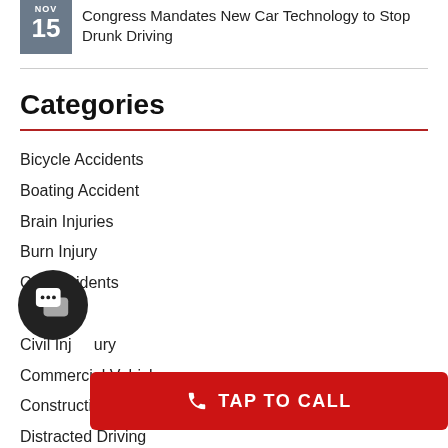Congress Mandates New Car Technology to Stop Drunk Driving
Categories
Bicycle Accidents
Boating Accident
Brain Injuries
Burn Injury
Car Accidents
Charities
Civil Injury
Commercial Vehicles
Construction Accidents
Distracted Driving
Dog Bites
Dram Shop Law
[Figure (other): Chat widget button overlay]
[Figure (other): Tap to call red button banner]